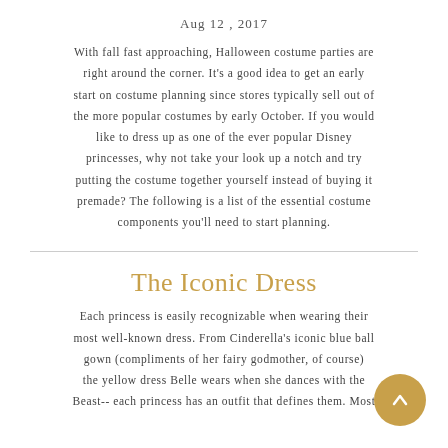Aug 12 , 2017
With fall fast approaching, Halloween costume parties are right around the corner. It's a good idea to get an early start on costume planning since stores typically sell out of the more popular costumes by early October. If you would like to dress up as one of the ever popular Disney princesses, why not take your look up a notch and try putting the costume together yourself instead of buying it premade? The following is a list of the essential costume components you'll need to start planning.
The Iconic Dress
Each princess is easily recognizable when wearing their most well-known dress. From Cinderella's iconic blue ball gown (compliments of her fairy godmother, of course) the yellow dress Belle wears when she dances with the Beast-- each princess has an outfit that defines them. Most